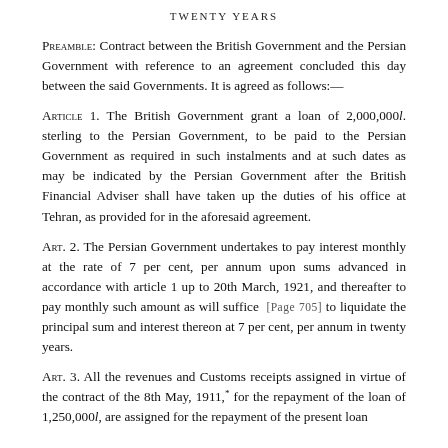TWENTY YEARS
Preamble: Contract between the British Government and the Persian Government with reference to an agreement concluded this day between the said Governments. It is agreed as follows:—
Article 1. The British Government grant a loan of 2,000,000l. sterling to the Persian Government, to be paid to the Persian Government as required in such instalments and at such dates as may be indicated by the Persian Government after the British Financial Adviser shall have taken up the duties of his office at Tehran, as provided for in the aforesaid agreement.
Art. 2. The Persian Government undertakes to pay interest monthly at the rate of 7 per cent, per annum upon sums advanced in accordance with article 1 up to 20th March, 1921, and thereafter to pay monthly such amount as will suffice [Page 705] to liquidate the principal sum and interest thereon at 7 per cent, per annum in twenty years.
Art. 3. All the revenues and Customs receipts assigned in virtue of the contract of the 8th May, 1911,* for the repayment of the loan of 1,250,000l, are assigned for the repayment of the present loan